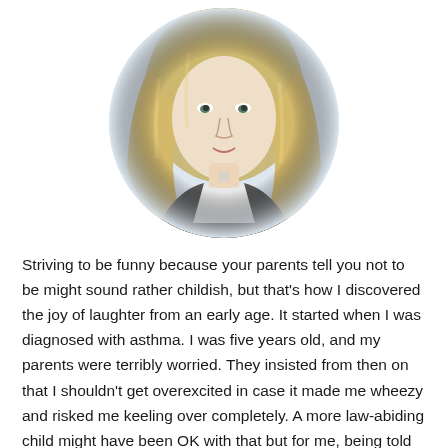[Figure (photo): Circular portrait photo of a blonde woman wearing a dark jacket over a white shirt, with long wavy hair, photographed from the shoulders up against a light background.]
Striving to be funny because your parents tell you not to be might sound rather childish, but that’s how I discovered the joy of laughter from an early age. It started when I was diagnosed with asthma. I was five years old, and my parents were terribly worried. They insisted from then on that I shouldn’t get overexcited in case it made me wheezy and risked me keeling over completely. A more law-abiding child might have been OK with that but for me, being told that I wasn’t allowed to laugh only made me want to do it even